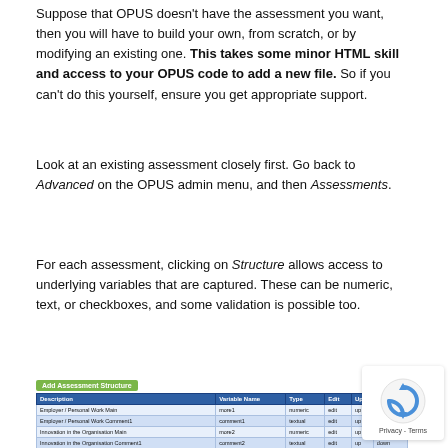Suppose that OPUS doesn't have the assessment you want, then you will have to build your own, from scratch, or by modifying an existing one. This takes some minor HTML skill and access to your OPUS code to add a new file. So if you can't do this yourself, ensure you get appropriate support.
Look at an existing assessment closely first. Go back to Advanced on the OPUS admin menu, and then Assessments.
For each assessment, clicking on Structure allows access to underlying variables that are captured. These can be numeric, text, or checkboxes, and some validation is possible too.
[Figure (screenshot): Screenshot of an Add Assessment Structure table with columns: Description, Variable Name, Type, Edit, Up, Down. Rows include Employer/Personal Work Main (more1, numeric), Employer/Personal Work Comment1 (comment1, textual), Innovation in the Organisation Main (more2, numeric), Innovation in the Organisation Comment1 (comment2, textual), Reflection on the Benefit of Focus on Work (more3, numeric), Reflection on the Benefit of Focus on Comment (comment3, textual).]